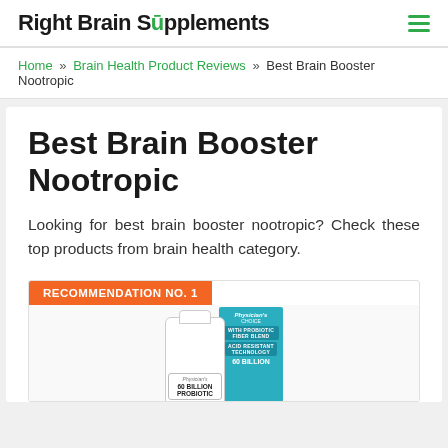Right Brain Supplements
Home » Brain Health Product Reviews » Best Brain Booster Nootropic
Best Brain Booster Nootropic
Looking for best brain booster nootropic? Check these top products from brain health category.
RECOMMENDATION NO. 1
[Figure (photo): Product photo of Physician's Choice 60 Billion Probiotic supplement bottle and box packaging in teal/cyan color]